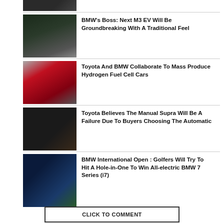[Figure (photo): Partial thumbnail of a dark car at the top, cropped]
BMW's Boss: Next M3 EV Will Be Groundbreaking With A Traditional Feel
Toyota And BMW Collaborate To Mass Produce Hydrogen Fuel Cell Cars
Toyota Believes The Manual Supra Will Be A Failure Due To Buyers Choosing The Automatic
BMW International Open : Golfers Will Try To Hit A Hole-in-One To Win All-electric BMW 7 Series (i7)
CLICK TO COMMENT